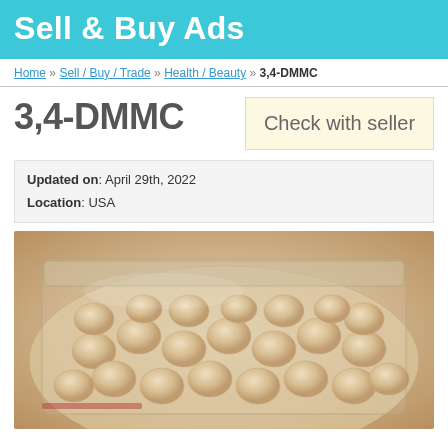Sell & Buy Ads
Home » Sell / Buy / Trade » Health / Beauty » 3,4-DMMC
3,4-DMMC
Check with seller
Updated on: April 29th, 2022
Location: USA
[Figure (photo): Photograph of a clear plastic zip-lock bag filled with pale beige/cream colored round tablets or pill-like substances.]